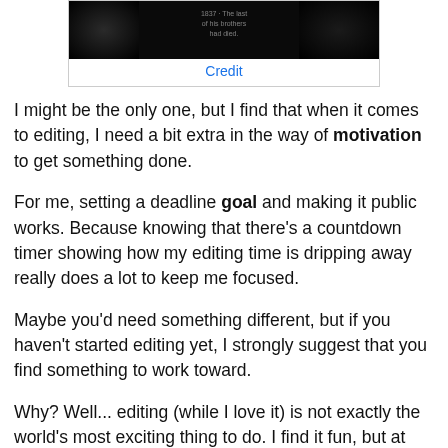[Figure (photo): Dark/black image with some faint text overlay, partially visible]
Credit
I might be the only one, but I find that when it comes to editing, I need a bit extra in the way of motivation to get something done.
For me, setting a deadline goal and making it public works. Because knowing that there's a countdown timer showing how my editing time is dripping away really does a lot to keep me focused.
Maybe you'd need something different, but if you haven't started editing yet, I strongly suggest that you find something to work toward.
Why? Well... editing (while I love it) is not exactly the world's most exciting thing to do. I find it fun, but at the same time, it's a lot more like work than the sheer joy of pure creation as experienced during drafting.
So I need to remind myself that I am working toward